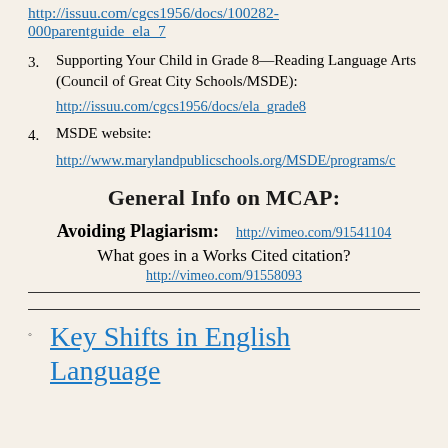http://issuu.com/cgcs1956/docs/100282-000parentguide_ela_7
3. Supporting Your Child in Grade 8—Reading Language Arts (Council of Great City Schools/MSDE): http://issuu.com/cgcs1956/docs/ela_grade8
4. MSDE website: http://www.marylandpublicschools.org/MSDE/programs/c
General Info on MCAP:
Avoiding Plagiarism:   http://vimeo.com/91541104
What goes in a Works Cited citation?
http://vimeo.com/91558093
Key Shifts in English Language